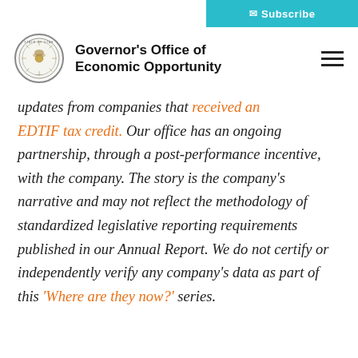Subscribe
Governor's Office of Economic Opportunity
updates from companies that received an EDTIF tax credit. Our office has an ongoing partnership, through a post-performance incentive, with the company. The story is the company's narrative and may not reflect the methodology of standardized legislative reporting requirements published in our Annual Report. We do not certify or independently verify any company's data as part of this 'Where are they now?' series.